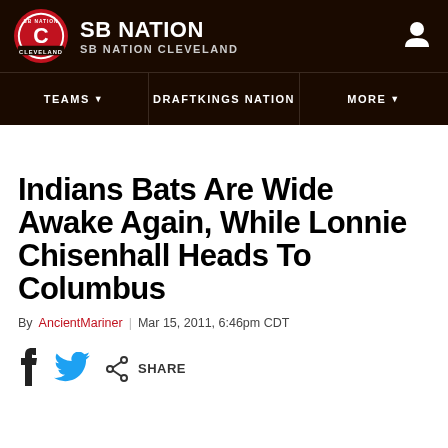SB NATION / SB NATION CLEVELAND
Indians Bats Are Wide Awake Again, While Lonnie Chisenhall Heads To Columbus
By AncientMariner | Mar 15, 2011, 6:46pm CDT